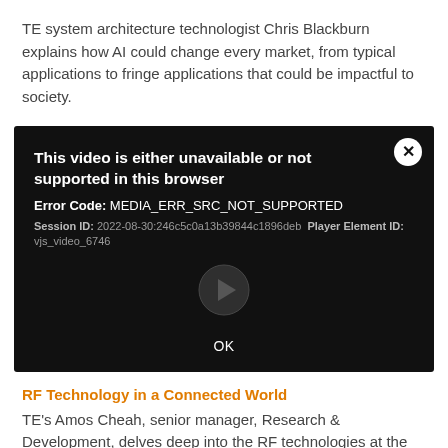TE system architecture technologist Chris Blackburn explains how AI could change every market, from typical applications to fringe applications that could be impactful to society.
[Figure (screenshot): Video player error dialog on black background. Title: 'This video is either unavailable or not supported in this browser'. Error Code: MEDIA_ERR_SRC_NOT_SUPPORTED. Session ID: 2022-08-30:246c5c0a13b39844c1896deb Player Element ID: vjs_video_6746. A circular close (X) button in top-right. A grayed-out play icon in center. OK button at bottom.]
RF Technology in a Connected World
TE's Amos Cheah, senior manager, Research & Development, delves deep into the RF technologies at the center of our everyday life, explaining how the emergence